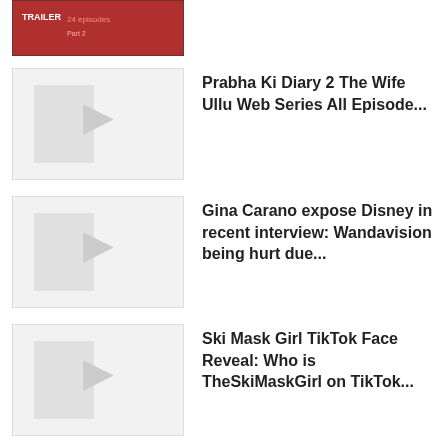[Figure (photo): Partially visible thumbnail at top, appears to be a movie/show trailer image with red background and text]
Prabha Ki Diary 2 The Wife Ullu Web Series All Episode...
[Figure (photo): Placeholder thumbnail image]
Gina Carano expose Disney in recent interview: Wandavision being hurt due...
[Figure (photo): Placeholder thumbnail image]
Ski Mask Girl TikTok Face Reveal: Who is TheSkiMaskGirl on TikTok...
[Figure (photo): Placeholder thumbnail image]
Sabrina Prater Missing Conspiracy Video: What Happened To TikTok Star Franklin...
[Figure (photo): Placeholder thumbnail image]
Who is Ariella Nyssa, TikTok Star Video Viral